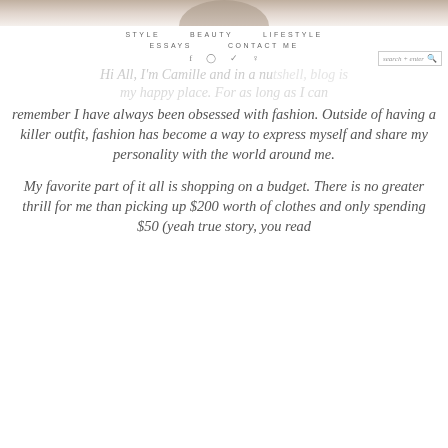[Figure (photo): Top portion of a person's photo, cropped at the top of the page]
STYLE   BEAUTY   LIFESTYLE   ESSAYS   CONTACT ME
Hi All, I'm Camille and in a nutshell, blog is my happy place. For as long as I can remember I have always been obsessed with fashion. Outside of having a killer outfit, fashion has become a way to express myself and share my personality with the world around me.
My favorite part of it all is shopping on a budget. There is no greater thrill for me than picking up $200 worth of clothes and only spending $50 (yeah true story, you read